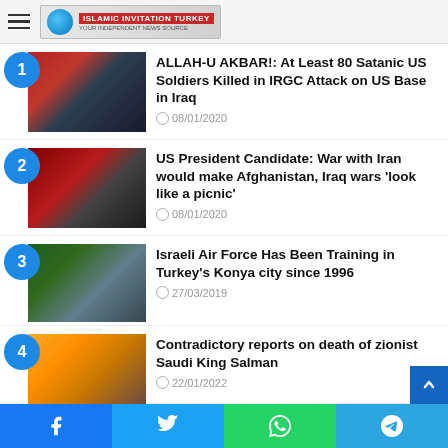Islamic Invitation Turkey
ALLAH-U AKBAR!: At Least 80 Satanic US Soldiers Killed in IRGC Attack on US Base in Iraq — 08/01/2020
US President Candidate: War with Iran would make Afghanistan, Iraq wars 'look like a picnic' — 08/01/2020
Israeli Air Force Has Been Training in Turkey's Konya city since 1996 — 27/03/2019
Contradictory reports on death of zionist Saudi King Salman — 22/01/2022
Facebook | Twitter | WhatsApp | Telegram